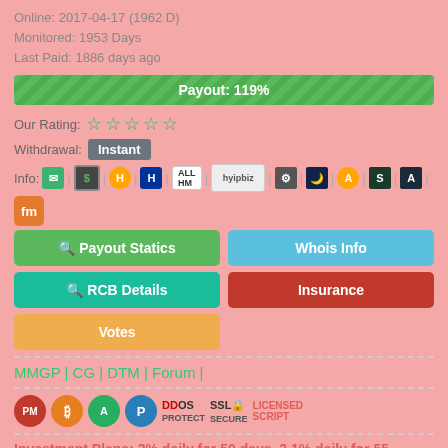Online: 2017-04-17 (1962 D)
Monitored: 1953 Days
Last Paid: 1886 days ago
Payout: 119%
Our Rating:
Withdrawal: Instant
Info: [icons]
Payout Statics | Whois Info
RCB Details | Insurance
Votes
MMGP | CG | DTM | Forum |
[Figure (infographic): Payment badges: PM, BTC, Advcash, Payeer, DDOS Protect, SSL Secure, Licensed Script]
Investment Plans: 3% daily for 50 days, 3.1% daily for 55